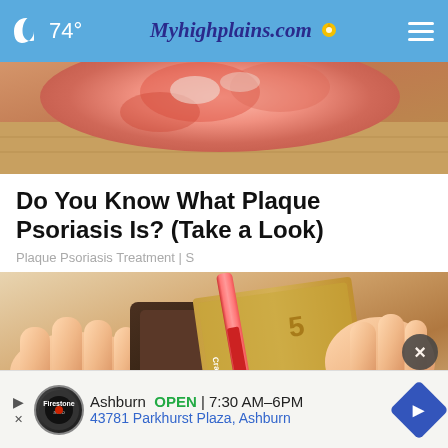🌙 74° Myhighplains.com ☰
[Figure (photo): Close-up photo of a foot/skin showing redness and irritation consistent with psoriasis symptoms, on a wooden surface background]
Do You Know What Plaque Psoriasis Is? (Take a Look)
Plaque Psoriasis Treatment | S
[Figure (photo): Hands holding an open wallet with a Crayola crayon inside instead of money/credit cards]
Ashburn  OPEN  | 7:30 AM–6PM
43781 Parkhurst Plaza, Ashburn